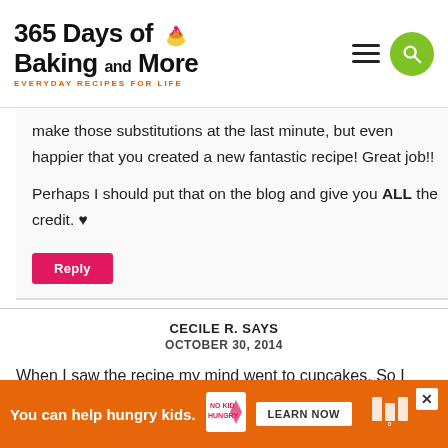365 Days of Baking and More — EVERYDAY RECIPES FOR LIFE
make those substitutions at the last minute, but even happier that you created a new fantastic recipe! Great job!! Perhaps I should put that on the blog and give you ALL the credit. ♥
Reply
CECILE R. SAYS
OCTOBER 30, 2014
When I saw the recipe my mind went to cupcakes. So I do...
[Figure (infographic): Advertisement banner: orange background, text 'You can help hungry kids.' with No Kid Hungry logo and Learn Now button. Close button top right.]